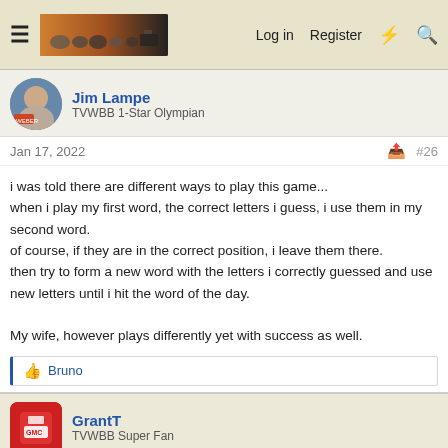Log in  Register
Jim Lampe
TVWBB 1-Star Olympian
Jan 17, 2022  #26
i was told there are different ways to play this game...
when i play my first word, the correct letters i guess, i use them in my second word.
of course, if they are in the correct position, i leave them there.
then try to form a new word with the letters i correctly guessed and use new letters until i hit the word of the day.

My wife, however plays differently yet with success as well.
Bruno
GrantT
TVWBB Super Fan